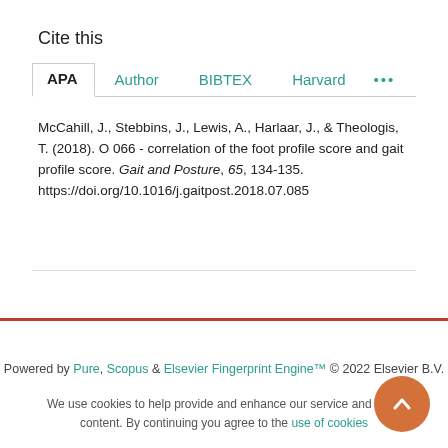Cite this
APA   Author   BIBTEX   Harvard   ...
McCahill, J., Stebbins, J., Lewis, A., Harlaar, J., & Theologis, T. (2018). O 066 - correlation of the foot profile score and gait profile score. Gait and Posture, 65, 134-135. https://doi.org/10.1016/j.gaitpost.2018.07.085
Powered by Pure, Scopus & Elsevier Fingerprint Engine™ © 2022 Elsevier B.V.
We use cookies to help provide and enhance our service and tailor content. By continuing you agree to the use of cookies